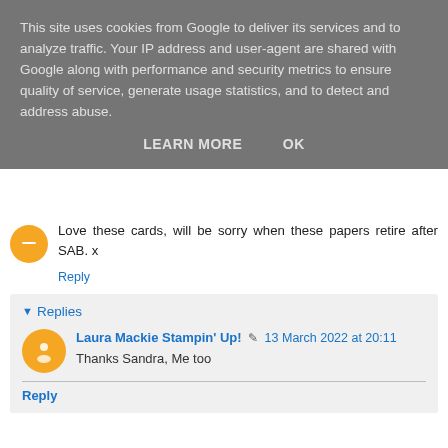This site uses cookies from Google to deliver its services and to analyze traffic. Your IP address and user-agent are shared with Google along with performance and security metrics to ensure quality of service, generate usage statistics, and to detect and address abuse.
LEARN MORE    OK
Love these cards, will be sorry when these papers retire after SAB. x
Reply
Replies
Laura Mackie Stampin' Up!  13 March 2022 at 20:11
Thanks Sandra, Me too
Reply